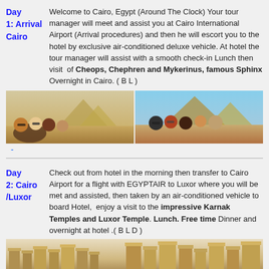Day 1: Arrival Cairo — Welcome to Cairo, Egypt (Around The Clock) Your tour manager will meet and assist you at Cairo International Airport (Arrival procedures) and then he will escort you to the hotel by exclusive air-conditioned deluxe vehicle. At hotel the tour manager will assist with a smooth check-in Lunch then visit of Cheops, Chephren and Mykerinus, famous Sphinx Overnight in Cairo. ( B L )
[Figure (photo): Two side-by-side photos of tourists at the Pyramids of Giza in Egypt]
Day 2: Cairo/Luxor — Check out from hotel in the morning then transfer to Cairo Airport for a flight with EGYPTAIR to Luxor where you will be met and assisted, then taken by an air-conditioned vehicle to board Hotel, enjoy a visit to the impressive Karnak Temples and Luxor Temple. Lunch. Free time Dinner and overnight at hotel .( B L D )
[Figure (photo): Photo of Karnak Temple complex in Luxor, Egypt]